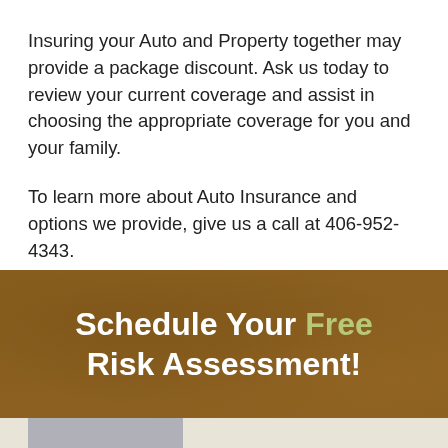Insuring your Auto and Property together may provide a package discount. Ask us today to review your current coverage and assist in choosing the appropriate coverage for you and your family.
To learn more about Auto Insurance and options we provide, give us a call at 406-952-4343.
Schedule Your Free Risk Assessment!